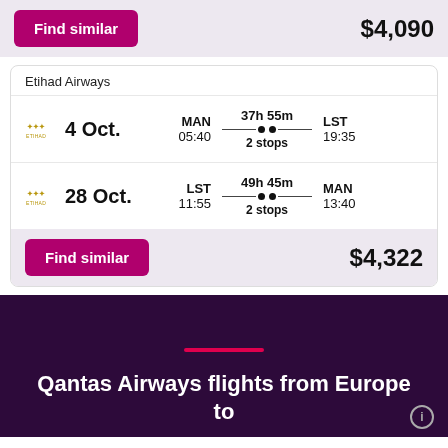$4,090
Etihad Airways
4 Oct. MAN 05:40 37h 55m 2 stops LST 19:35
28 Oct. LST 11:55 49h 45m 2 stops MAN 13:40
$4,322
Qantas Airways flights from Europe to